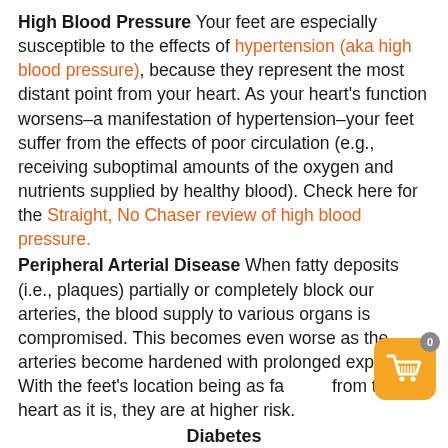High Blood Pressure Your feet are especially susceptible to the effects of hypertension (aka high blood pressure), because they represent the most distant point from your heart. As your heart's function worsens–a manifestation of hypertension–your feet suffer from the effects of poor circulation (e.g., receiving suboptimal amounts of the oxygen and nutrients supplied by healthy blood). Check here for the Straight, No Chaser review of high blood pressure.
Peripheral Arterial Disease When fatty deposits (i.e., plaques) partially or completely block our arteries, the blood supply to various organs is compromised. This becomes even worse as the arteries become hardened with prolonged exposure. With the feet's location being as far from the heart as it is, they are at higher risk.
Diabetes